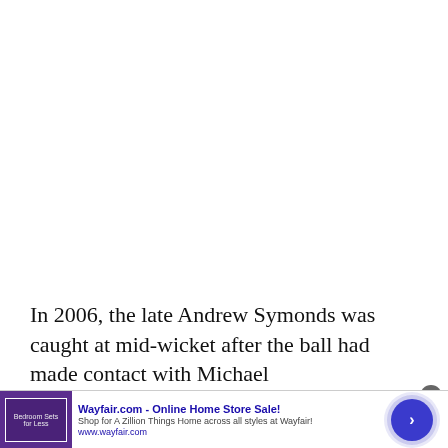In 2006, the late Andrew Symonds was caught at mid-wicket after the ball had made contact with Michael
[Figure (screenshot): Advertisement banner for Wayfair.com - Online Home Store Sale! with purple bedroom furniture image, text 'Shop for A Zillion Things Home across all styles at Wayfair!', URL www.wayfair.com, and a blue circular arrow button. A close (X) button is visible in the top-right corner.]